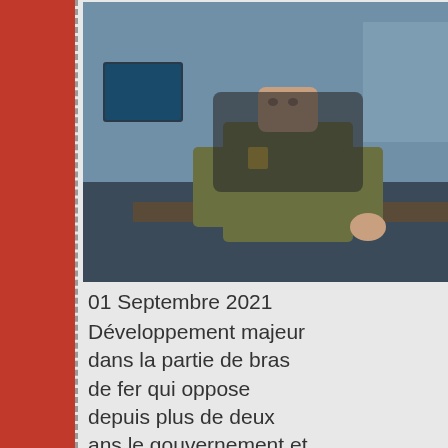[Figure (photo): Man in military/police uniform sitting at a desk, gesturing with his hand]
01 Septembre 2021
Développement majeur dans la partie de bras de fer qui oppose depuis plus de deux ans le gouvernement et le directeur général de la Sûreté du Québe
https://www.lapresse.ca/actualites/justice-et-faits-divers/2021-08-30/surete-du-... Lire la suite...